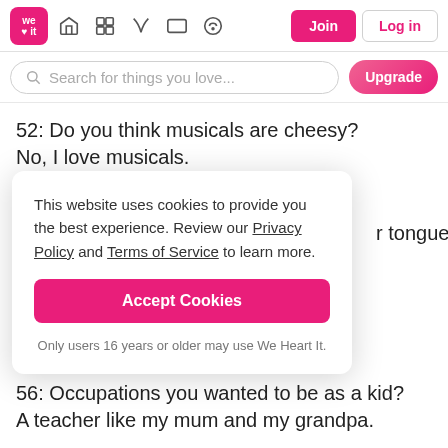[Figure (screenshot): We Heart It website navigation bar with logo, icons, Join and Log in buttons]
[Figure (screenshot): Search bar with placeholder text 'Search for things you love...' and Upgrade button]
52: Do you think musicals are cheesy?
No, I love musicals.
53: Dogs or cats?
...r tongue?
This website uses cookies to provide you the best experience. Review our Privacy Policy and Terms of Service to learn more.
Accept Cookies
Only users 16 years or older may use We Heart It.
56: Occupations you wanted to be as a kid?
A teacher like my mum and my grandpa.